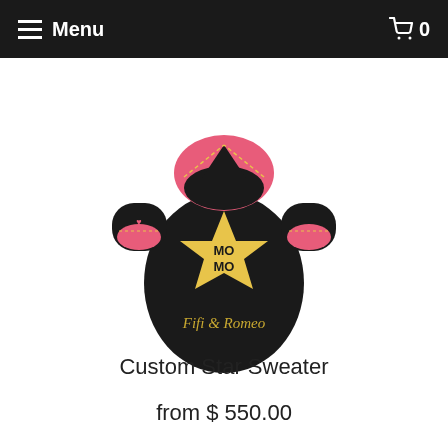Menu  0
[Figure (photo): A black dog sweater with a large yellow star on the front, featuring 'MO MO' text on the star, pink collar and cuffs with yellow stitching, and 'Fifi & Romeo' written in gold rhinestone script at the bottom.]
Custom Star Sweater
from $ 550.00